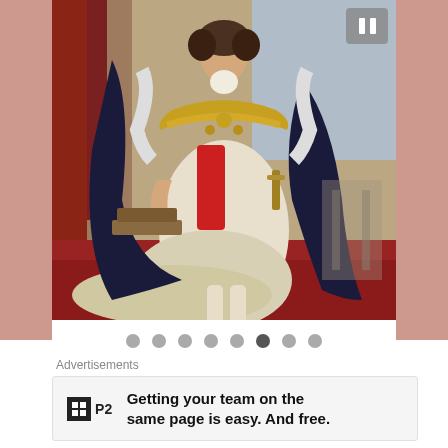[Figure (illustration): Oil painting portrait of a royal figure (likely George IV) in full coronation regalia — dark ermine-trimmed robe, white satin garments, golden chain of order, red sash, standing on a red carpeted floor with columns and drapery in background. An 8-dot slideshow carousel indicator appears below the image with the 6th dot highlighted.]
Advertisements
Getting your team on the same page is easy. And free.